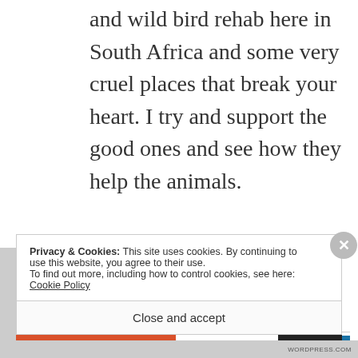and wild bird rehab here in South Africa and some very cruel places that break your heart. I try and support the good ones and see how they help the animals.
★ Liked by 1 person
REPLY
Privacy & Cookies: This site uses cookies. By continuing to use this website, you agree to their use.
To find out more, including how to control cookies, see here: Cookie Policy
Close and accept